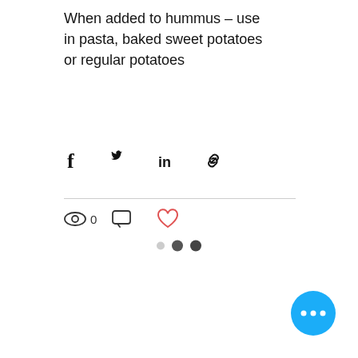When added to hummus – use in pasta, baked sweet potatoes or regular potatoes
[Figure (infographic): Social share bar with Facebook, Twitter, LinkedIn, and link icons]
[Figure (infographic): Stats bar with eye/view count of 0, comment icon, and heart/like icon]
[Figure (infographic): Pagination dots: one light gray inactive dot, two dark active dots]
[Figure (infographic): Blue circular floating action button with three white dots (more options)]